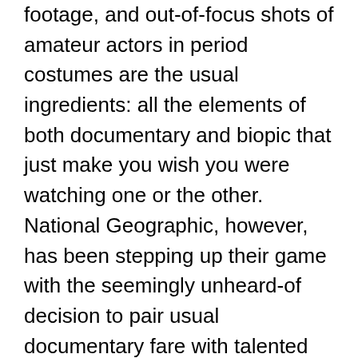footage, and out-of-focus shots of amateur actors in period costumes are the usual ingredients: all the elements of both documentary and biopic that just make you wish you were watching one or the other. National Geographic, however, has been stepping up their game with the seemingly unheard-of decision to pair usual documentary fare with talented actors and a well-written script. The format worked remarkably well for NatGeo's still ongoing Mars, which tells the fictional account of a group of astronauts who set off on a voyage to become the first inhabitants of the Red Planet in 2033.